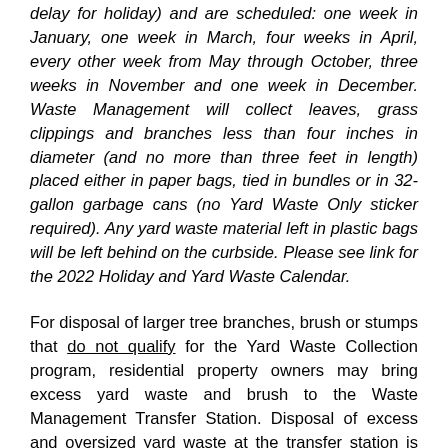delay for holiday) and are scheduled: one week in January, one week in March, four weeks in April, every other week from May through October, three weeks in November and one week in December. Waste Management will collect leaves, grass clippings and branches less than four inches in diameter (and no more than three feet in length) placed either in paper bags, tied in bundles or in 32-gallon garbage cans (no Yard Waste Only sticker required). Any yard waste material left in plastic bags will be left behind on the curbside. Please see link for the 2022 Holiday and Yard Waste Calendar.
For disposal of larger tree branches, brush or stumps that do not qualify for the Yard Waste Collection program, residential property owners may bring excess yard waste and brush to the Waste Management Transfer Station. Disposal of excess and oversized yard waste at the transfer station is not counted as one of the two free dumps offered to residential property owners and may be